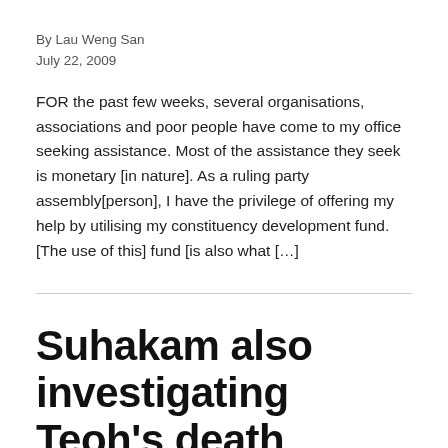By Lau Weng San
July 22, 2009
FOR the past few weeks, several organisations, associations and poor people have come to my office seeking assistance. Most of the assistance they seek is monetary [in nature]. As a ruling party assembly[person], I have the privilege of offering my help by utilising my constituency development fund. [The use of this] fund [is also what […]
Suhakam also investigating Teoh's death